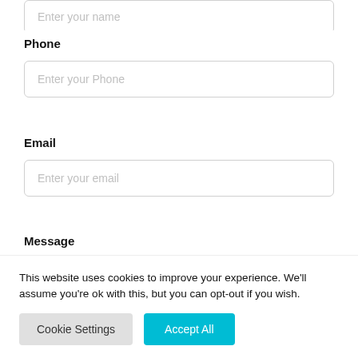[Figure (screenshot): Partial form field showing 'Enter your name' placeholder text in a text input box, clipped at the top of the page]
Phone
[Figure (screenshot): Form input field with placeholder text 'Enter your Phone']
Email
[Figure (screenshot): Form input field with placeholder text 'Enter your email']
Message
[Figure (screenshot): Form input field with placeholder text 'Enter your Message', partially visible]
This website uses cookies to improve your experience. We'll assume you're ok with this, but you can opt-out if you wish.
Cookie Settings
Accept All